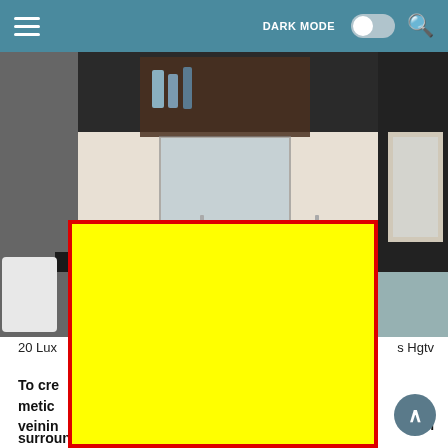DARK MODE [toggle] [search]
[Figure (photo): Luxury bathroom interior with dark tile walls, vessel sinks on black countertop, wood shelving with bottles, and a bathtub visible on the right. A red-bordered 'close' button is overlaid on the image. A large yellow rectangle with red border covers the lower half of the image as an ad overlay.]
20 Lux[ury Bathrooms]... Hgtv
To cre[ate a luxurious look that is] metic[ulously designed, pay attention] o th[e] veinin[g...] surround to the backsplash.